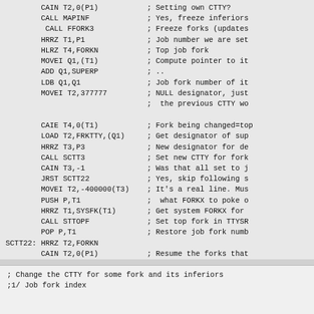Assembly code listing with comments showing CTTY fork operations: CAIN T2,0(P1), CALL MAPINF, CALL FFORK3, HRRZ T1,P1, HLRZ T4,FORKN, MOVEI Q1,(T1), ADD Q1,SUPERP, LDB Q1,Q1, MOVEI T2,377777, CAIE T4,0(T1), LOAD T2,FRKTTY,(Q1), HRRZ T3,P3, CALL SCTT3, CAIN T3,-1, JRST SCTT22, MOVEI T2,-400000(T3), PUSH P,T1, HRRZ T1,SYSFK(T1), CALL STTOPF, POP P,T1, SCTT22: HRRZ T2,FORKN, CAIN T2,0(P1), CALL MAPINF, CALL RFORK3, RET
; Change the CTTY for some fork and its inferiors
;1/ Job fork index